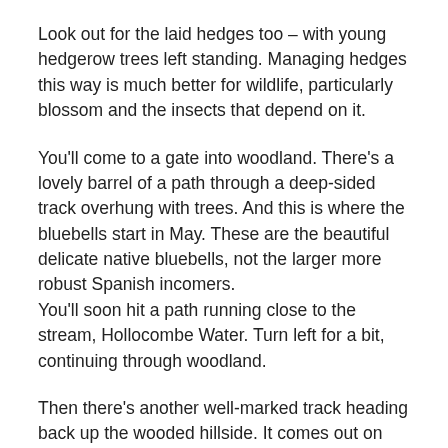Look out for the laid hedges too – with young hedgerow trees left standing. Managing hedges this way is much better for wildlife, particularly blossom and the insects that depend on it.
You'll come to a gate into woodland. There's a lovely barrel of a path through a deep-sided track overhung with trees. And this is where the bluebells start in May. These are the beautiful delicate native bluebells, not the larger more robust Spanish incomers. You'll soon hit a path running close to the stream, Hollocombe Water. Turn left for a bit, continuing through woodland.
Then there's another well-marked track heading back up the wooded hillside. It comes out on the road, past patches of primroses lighting up the bank.